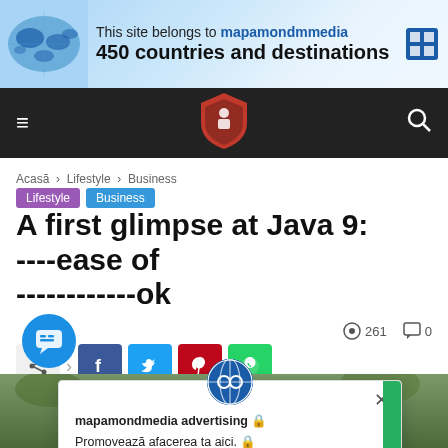[Figure (infographic): Banner ad: This site belongs to mapamondmedia - 450 countries and destinations, with world map graphic]
[Figure (infographic): Navigation bar with hamburger menu, shield logo, and search icon on dark background]
Acasă › Lifestyle › Business
Lifestyle  Business
A first glimpse at Java 9: ease of ... ok
[Figure (infographic): Popup overlay: mapamondmedia advertising - Promovează afacerea ta aici. Promote your business here.]
261  0
[Figure (infographic): Social share buttons: share toggle, Facebook, Twitter, Pinterest, WhatsApp]
[Figure (photo): Bottom photo showing people outdoors]